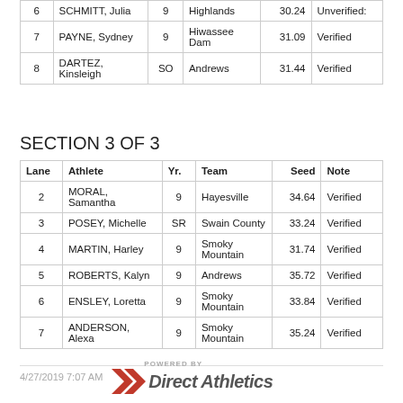| Lane | Athlete | Yr. | Team | Seed | Note |
| --- | --- | --- | --- | --- | --- |
| 6 | SCHMITT, Julia | 9 | Highlands | 30.24 | Unverified: |
| 7 | PAYNE, Sydney | 9 | Hiwassee Dam | 31.09 | Verified |
| 8 | DARTEZ, Kinsleigh | SO | Andrews | 31.44 | Verified |
SECTION 3 OF 3
| Lane | Athlete | Yr. | Team | Seed | Note |
| --- | --- | --- | --- | --- | --- |
| 2 | MORAL, Samantha | 9 | Hayesville | 34.64 | Verified |
| 3 | POSEY, Michelle | SR | Swain County | 33.24 | Verified |
| 4 | MARTIN, Harley | 9 | Smoky Mountain | 31.74 | Verified |
| 5 | ROBERTS, Kalyn | 9 | Andrews | 35.72 | Verified |
| 6 | ENSLEY, Loretta | 9 | Smoky Mountain | 33.84 | Verified |
| 7 | ANDERSON, Alexa | 9 | Smoky Mountain | 35.24 | Verified |
4/27/2019 7:07 AM  POWERED BY Direct Athletics